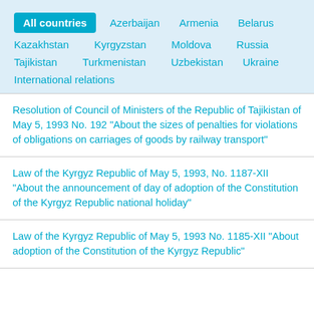All countries
Azerbaijan
Armenia
Belarus
Kazakhstan
Kyrgyzstan
Moldova
Russia
Tajikistan
Turkmenistan
Uzbekistan
Ukraine
International relations
Resolution of Council of Ministers of the Republic of Tajikistan of May 5, 1993 No. 192 "About the sizes of penalties for violations of obligations on carriages of goods by railway transport"
Law of the Kyrgyz Republic of May 5, 1993, No. 1187-XII "About the announcement of day of adoption of the Constitution of the Kyrgyz Republic national holiday"
Law of the Kyrgyz Republic of May 5, 1993 No. 1185-XII "About adoption of the Constitution of the Kyrgyz Republic"